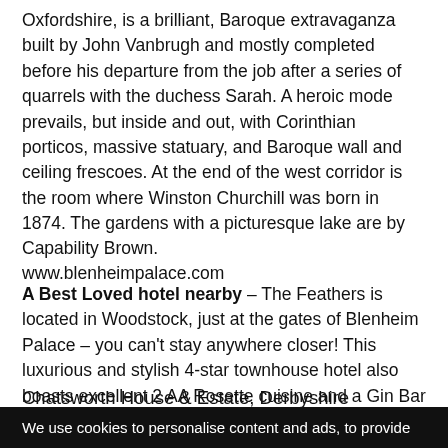Oxfordshire, is a brilliant, Baroque extravaganza built by John Vanbrugh and mostly completed before his departure from the job after a series of quarrels with the duchess Sarah. A heroic mode prevails, but inside and out, with Corinthian porticos, massive statuary, and Baroque wall and ceiling frescoes. At the end of the west corridor is the room where Winston Churchill was born in 1874. The gardens with a picturesque lake are by Capability Brown.
www.blenheimpalace.com
A Best Loved hotel nearby – The Feathers is located in Woodstock, just at the gates of Blenheim Palace – you can't stay anywhere closer! This luxurious and stylish 4-star townhouse hotel also boasts excellent 2 AA Rosette cuisine and a Gin Bar with a record-breaking 400 varieties of gin.
Chatsworth House & Estate, Derbyshire
We use cookies to personalise content and ads, to provide